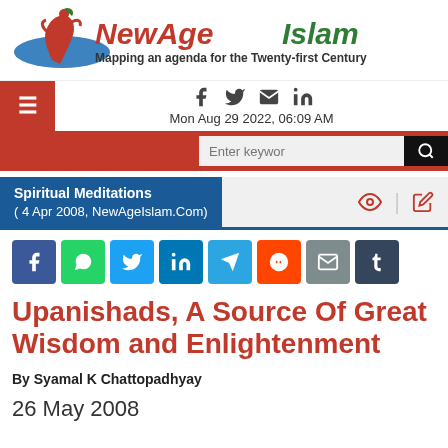[Figure (logo): NewAgeIslam logo with stylized figure and text 'NewAgeIslam - Mapping an agenda for the Twenty-first Century']
Mon Aug 29 2022, 06:09 AM
[Figure (screenshot): Search bar with 'Enter keyword' placeholder and search button]
Spiritual Meditations
( 4 Apr 2008, NewAgeIslam.Com)
[Figure (infographic): Social share buttons: Facebook, WhatsApp, Twitter, LinkedIn, Telegram, Reddit, Email, Tumblr]
Upanishads, A Source Of Great Wisdom and Enlightenment
By Syamal K Chattopadhyay
26 May 2008